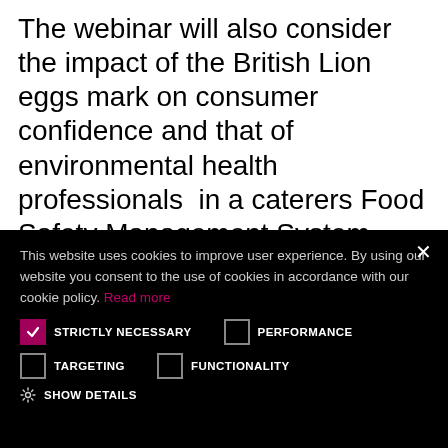The webinar will also consider the impact of the British Lion eggs mark on consumer confidence and that of environmental health professionals  in a caterers Food Safety Management System.
This website uses cookies to improve user experience. By using our website you consent to the use of cookies in accordance with our cookie policy. Read more
STRICTLY NECESSARY (checked), PERFORMANCE (unchecked)
TARGETING (unchecked), FUNCTIONALITY (unchecked)
SHOW DETAILS
ACCEPT ALL
DECLINE ALL